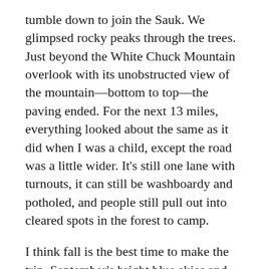tumble down to join the Sauk. We glimpsed rocky peaks through the trees. Just beyond the White Chuck Mountain overlook with its unobstructed view of the mountain—bottom to top—the paving ended. For the next 13 miles, everything looked about the same as it did when I was a child, except the road was a little wider. It's still one lane with turnouts, it can still be washboardy and potholed, and people still pull out into cleared spots in the forest to camp.
I think fall is the best time to make the trip. September's bright blue skies and crisp temperatures redden the vine maples. Yellow aspen leaves sift through the evergreens.